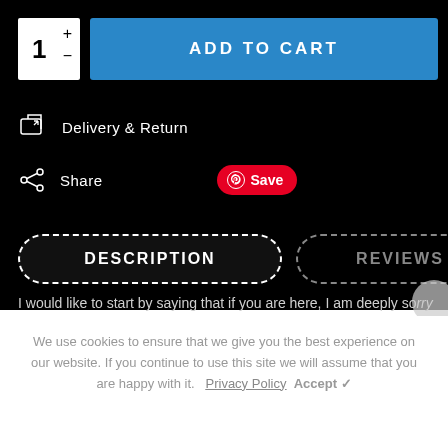1
ADD TO CART
Delivery & Return
Share
Save
DESCRIPTION
REVIEWS (1)
I would like to start by saying that if you are here, I am deeply sorry
We use cookies to ensure that we give you the best experience on our website. If you continue to use this site we will assume that you are happy with it.
Privacy Policy
Accept ✓